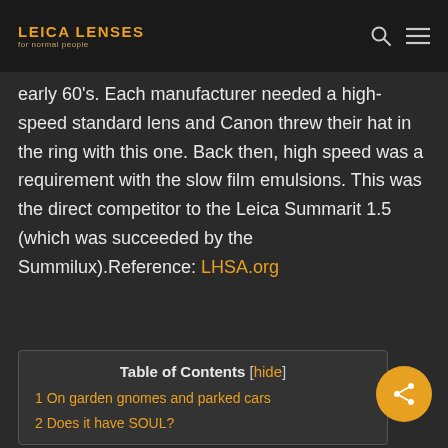LEICA LENSES for normal people
early 60's. Each manufacturer needed a high-speed standard lens and Canon threw their hat in the ring with this one. Back then, high speed was a requirement with the slow film emulsions. This was the direct competitor to the Leica Summarit 1.5 (which was succeeded by the Summilux).Reference: LHSA.org
| Table of Contents |
| --- |
| 1 On garden gnomes and parked cars |
| 2 Does it have SOUL? |